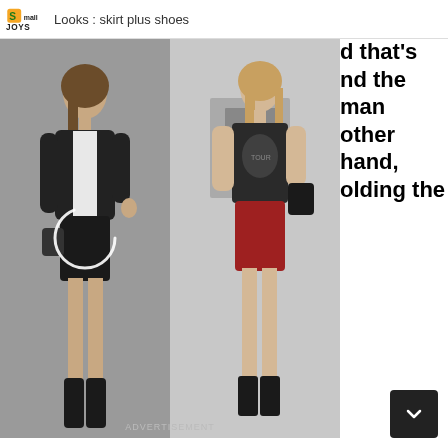SmallJOYS   Looks : skirt plus shoes
[Figure (photo): Two fashion photos side by side: left shows a woman in a black leather mini skirt with black ankle boots and leather jacket; right shows a woman in a red/burgundy leather mini skirt with a black graphic t-shirt and black shoes. A circular loading spinner overlays the left image center. 'ADVERTISEMENT' label at the bottom.]
d that's nd the man other hand, olding the
ADVERTISEMENT